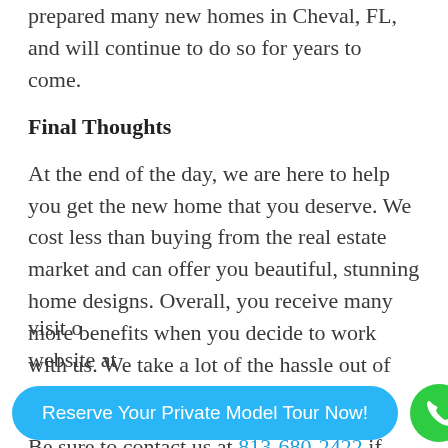and regulations in the area. Our team has prepared many new homes in Cheval, FL, and will continue to do so for years to come.
Final Thoughts
At the end of the day, we are here to help you get the new home that you deserve. We cost less than buying from the real estate market and can offer you beautiful, stunning home designs. Overall, you receive many more benefits when you decide to work with us. We take a lot of the hassle out of construction.
Be sure to contact us at 813-680-2422 if you have any questions or would like to talk about visit o website at
Reserve Your Private Model Tour Now!